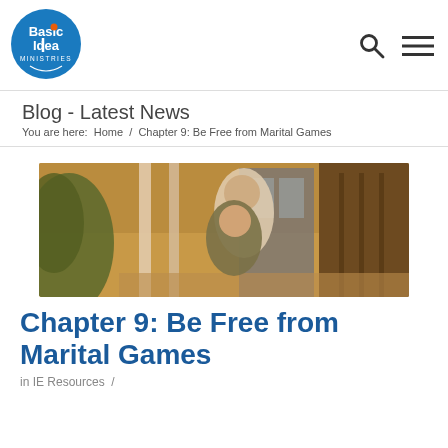[Figure (logo): Basic Idea Ministries circular logo — blue circle with white text 'Basic Idea Ministries' and orange dot above the 'i']
Blog - Latest News
You are here:  Home  /  Chapter 9: Be Free from Marital Games
[Figure (photo): A couple sitting on porch steps — man in white shirt standing behind a smiling woman, warm outdoor lighting]
Chapter 9: Be Free from Marital Games
in IE Resources  /